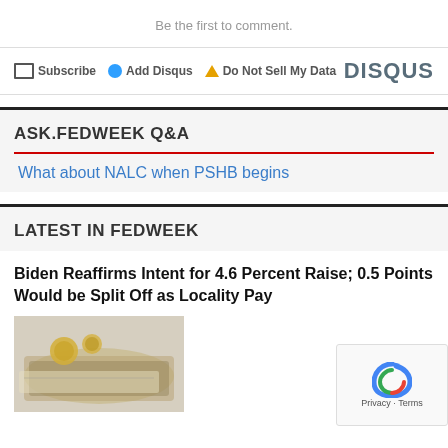Be the first to comment.
Subscribe  Add Disqus  Do Not Sell My Data  DISQUS
ASK.FEDWEEK Q&A
What about NALC when PSHB begins
LATEST IN FEDWEEK
Biden Reaffirms Intent for 4.6 Percent Raise; 0.5 Points Would be Split Off as Locality Pay
[Figure (photo): Photo of money/currency bills and coins on a plate]